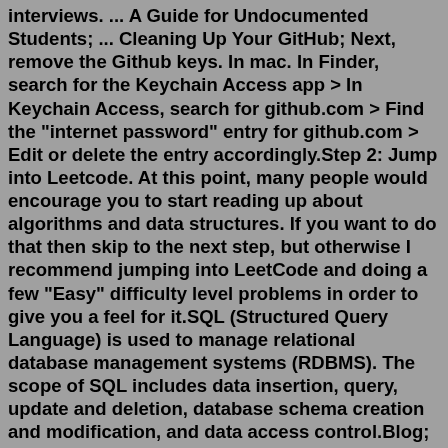interviews. ... A Guide for Undocumented Students; ... Cleaning Up Your GitHub; Next, remove the Github keys. In mac. In Finder, search for the Keychain Access app > In Keychain Access, search for github.com > Find the "internet password" entry for github.com > Edit or delete the entry accordingly.Step 2: Jump into Leetcode. At this point, many people would encourage you to start reading up about algorithms and data structures. If you want to do that then skip to the next step, but otherwise I recommend jumping into LeetCode and doing a few "Easy" difficulty level problems in order to give you a feel for it.SQL (Structured Query Language) is used to manage relational database management systems (RDBMS). The scope of SQL includes data insertion, query, update and deletion, database schema creation and modification, and data access control.Blog; A Guide to grinding Leetcode; A Guide to grinding Leetcode. By Abhishek Chaudhary Published 2022-04-03. Leetcode is famous for being a perfect platform for practicing coding problems and to master coding